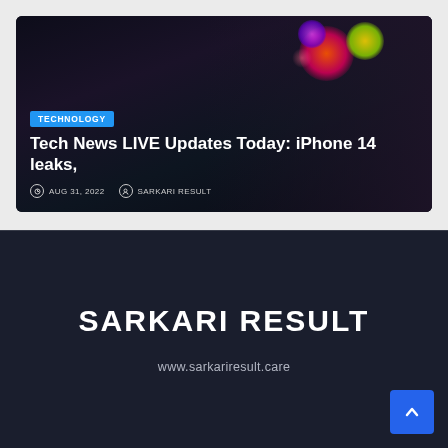[Figure (photo): Article card with dark background showing bokeh Apple logo colors (red, yellow, purple). Contains a TECHNOLOGY tag badge, article headline, date and author metadata.]
TECHNOLOGY
Tech News LIVE Updates Today: iPhone 14 leaks,
AUG 31, 2022   SARKARI RESULT
SARKARI RESULT
www.sarkariresult.care